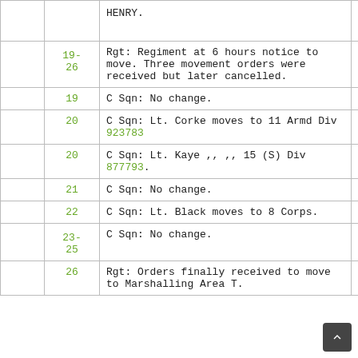|  |  |  |  |
| --- | --- | --- | --- |
|  |  | HENRY. |  |
|  | 19-26 | Rgt: Regiment at 6 hours notice to move. Three movement orders were received but later cancelled. |  |
|  | 19 | C Sqn: No change. |  |
|  | 20 | C Sqn: Lt. Corke moves to 11 Armd Div 923783 |  |
|  | 20 | C Sqn: Lt. Kaye ,, ,, 15 (S) Div 877793. |  |
|  | 21 | C Sqn: No change. |  |
|  | 22 | C Sqn: Lt. Black moves to 8 Corps. |  |
|  | 23-25 | C Sqn: No change. |  |
|  | 26 | Rgt: Orders finally received to move to Marshalling Area T. |  |